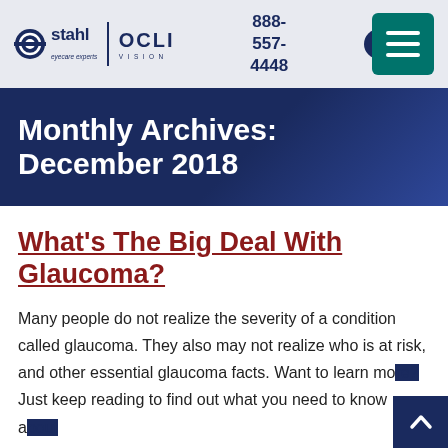stahl eyecare experts | OCLI VISION  888-557-4448
Monthly Archives: December 2018
What's The Big Deal With Glaucoma?
Many people do not realize the severity of a condition called glaucoma. They also may not realize who is at risk, and other essential glaucoma facts. Want to learn more? Just keep reading to find out what you need to know about